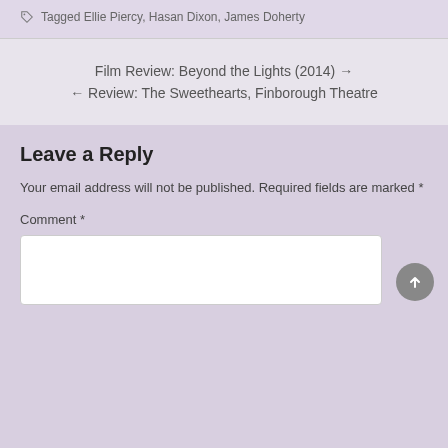Tagged Ellie Piercy, Hasan Dixon, James Doherty
Film Review: Beyond the Lights (2014) →
← Review: The Sweethearts, Finborough Theatre
Leave a Reply
Your email address will not be published. Required fields are marked *
Comment *